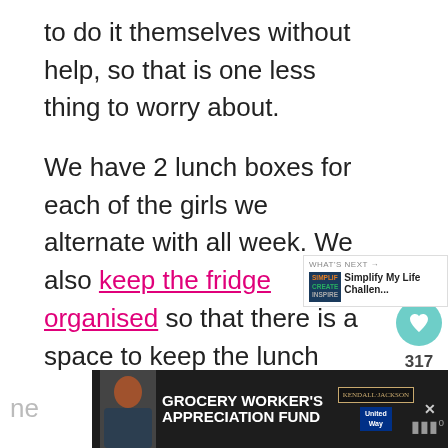to do it themselves without help, so that is one less thing to worry about.
We have 2 lunch boxes for each of the girls we alternate with all week. We also keep the fridge organised so that there is a space to keep the lunch boxes.
I like these ones because they fit a full sandwich plus snack compartments.
Grab my free printable for school lu ideas and stick it on the fridge so you are ne
[Figure (other): Grocery Worker's Appreciation Fund advertisement banner with Kendall Jackson and United Way logos]
[Figure (other): Social share widget with heart icon showing 317 likes and share button]
[Figure (other): What's Next widget - Simplify My Life Challen...]